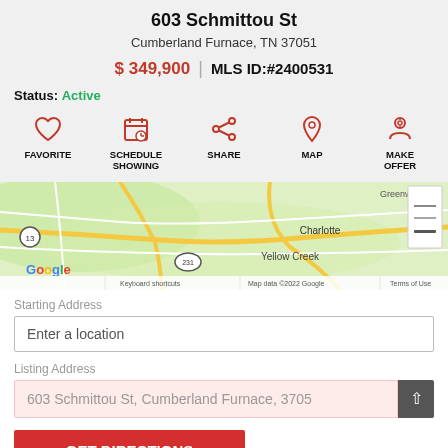603 Schmittou St
Cumberland Furnace, TN 37051
$ 349,900 | MLS ID:#2400531
Status: Active
FAVORITE | SCHEDULE SHOWING | SHARE | MAP | MAKE OFFER
[Figure (map): Google Map showing area near Yellow Creek and Charlotte, TN with route 13 and 231 visible]
Starting Address
Enter a location
Listing Address
603 Schmittou St, Cumberland Furnace, 3705
GET DIRECTIONS